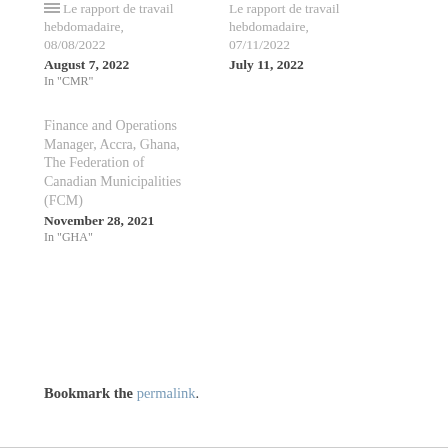Le rapport de travail hebdomadaire, 08/08/2022
August 7, 2022
In "CMR"
Le rapport de travail hebdomadaire, 07/11/2022
July 11, 2022
Finance and Operations Manager, Accra, Ghana, The Federation of Canadian Municipalities (FCM)
November 28, 2021
In "GHA"
Bookmark the permalink.